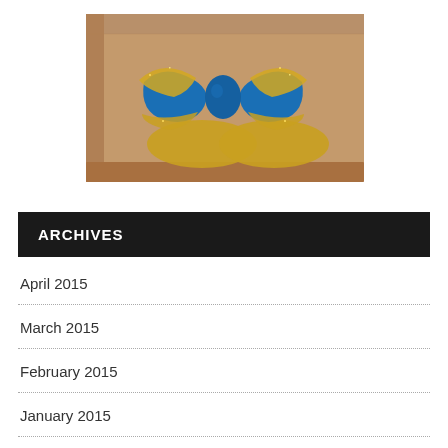[Figure (photo): A kraft paper wrapped gift box with a decorative bow tie made of blue felt and gold glitter on a white background.]
ARCHIVES
April 2015
March 2015
February 2015
January 2015